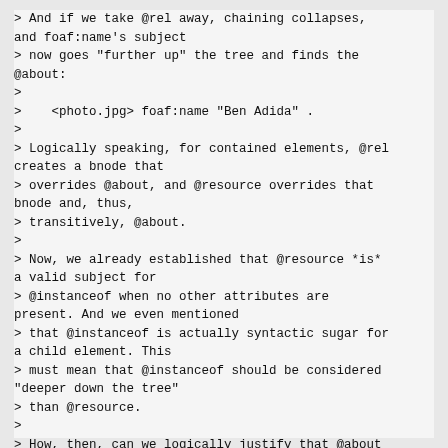> And if we take @rel away, chaining collapses, and foaf:name's subject
> now goes "further up" the tree and finds the @about:
>
>    <photo.jpg> foaf:name "Ben Adida" .
>
> Logically speaking, for contained elements, @rel creates a bnode that
> overrides @about, and @resource overrides that bnode and, thus,
> transitively, @about.
>
> Now, we already established that @resource *is* a valid subject for
> @instanceof when no other attributes are present. And we even mentioned
> that @instanceof is actually syntactic sugar for a child element. This
> must mean that @instanceof should be considered "deeper down the tree"
> than @resource.
>
> How, then, can we logically justify that @about overtakes @resource in
> the case of @instanceof, when precisely the opposite happens for child
> elements?
>